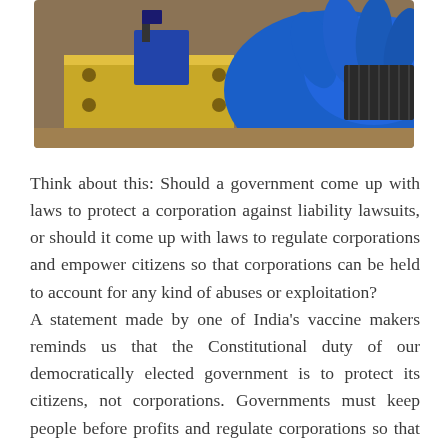[Figure (photo): Close-up photo of a person in blue gloves handling a scientific or electronic device mounted on a gold-colored platform, likely laboratory equipment.]
Think about this: Should a government come up with laws to protect a corporation against liability lawsuits, or should it come up with laws to regulate corporations and empower citizens so that corporations can be held to account for any kind of abuses or exploitation?
A statement made by one of India's vaccine makers reminds us that the Constitutional duty of our democratically elected government is to protect its citizens, not corporations. Governments must keep people before profits and regulate corporations so that these companies conduct businesses with respect to